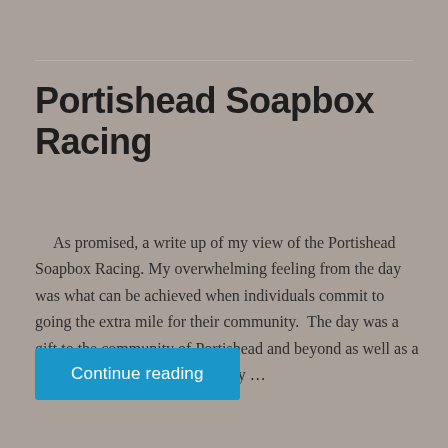Portishead Soapbox Racing
As promised, a write up of my view of the Portishead Soapbox Racing. My overwhelming feeling from the day was what can be achieved when individuals commit to going the extra mile for their community.  The day was a gift to the community of Portishead and beyond as well as a fabulous fundraising opportunity …
Continue reading